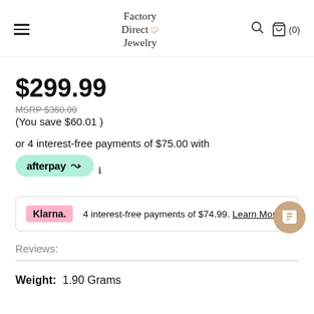Factory Direct Jewelry
$299.99
MSRP $360.00
(You save $60.01 )
or 4 interest-free payments of $75.00 with
[Figure (logo): Afterpay logo button - green rounded pill with afterpay text and chain link icon]
4 interest-free payments of $74.99. Learn More
Reviews:
Weight:  1.90 Grams